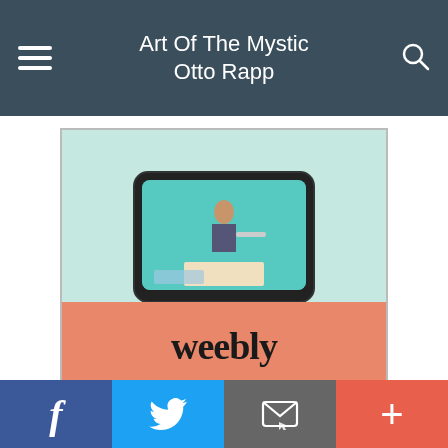Art Of The Mystic Otto Rapp
[Figure (advertisement): Weebly advertisement showing a device with person painting and the weebly logo on a salmon/orange background]
[Figure (advertisement): Yizzam advertisement on blue gradient background reading 'Shop from over 10+ thousand products.' with Yizzam logo burst at bottom]
[Figure (screenshot): Partial view of a third advertisement with blue background]
f  (twitter bird)  (email icon)  +